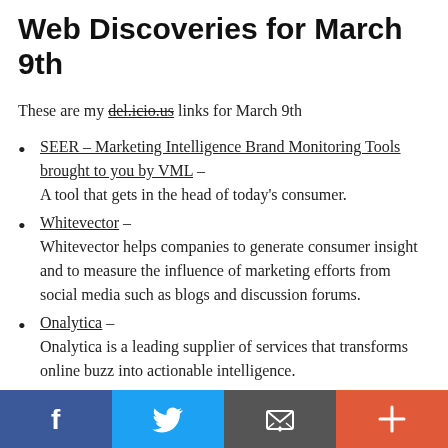Web Discoveries for March 9th
These are my del.icio.us links for March 9th
SEER – Marketing Intelligence Brand Monitoring Tools brought to you by VML – A tool that gets in the head of today's consumer.
Whitevector – Whitevector helps companies to generate consumer insight and to measure the influence of marketing efforts from social media such as blogs and discussion forums.
Onalytica – Onalytica is a leading supplier of services that transforms online buzz into actionable intelligence.